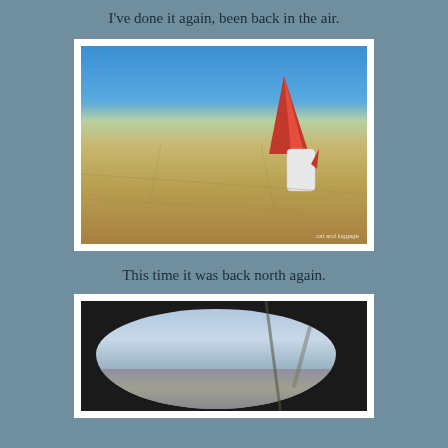I've done it again, been back in the air.
[Figure (photo): View from airplane window on tarmac showing Qantas aircraft tail fin (red with kangaroo logo) against blue sky, with tarmac/runway in foreground. Watermark text in bottom right corner.]
This time it was back north again.
[Figure (photo): Aerial view through airplane window showing city/suburban landscape below, with misty mountains in background. Dark window frame surrounds the view, with a diagonal reflection or strut visible.]